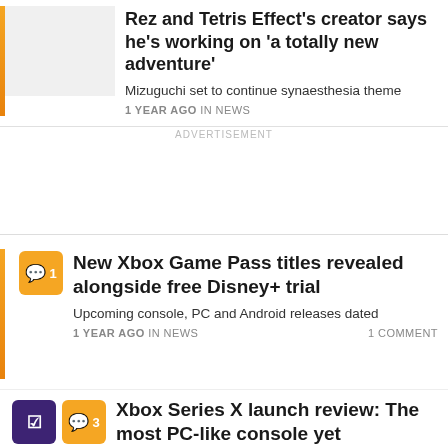Rez and Tetris Effect's creator says he's working on 'a totally new adventure'
Mizuguchi set to continue synaesthesia theme
1 YEAR AGO IN NEWS
ADVERTISEMENT
New Xbox Game Pass titles revealed alongside free Disney+ trial
Upcoming console, PC and Android releases dated
1 YEAR AGO IN NEWS    1 COMMENT
Xbox Series X launch review: The most PC-like console yet